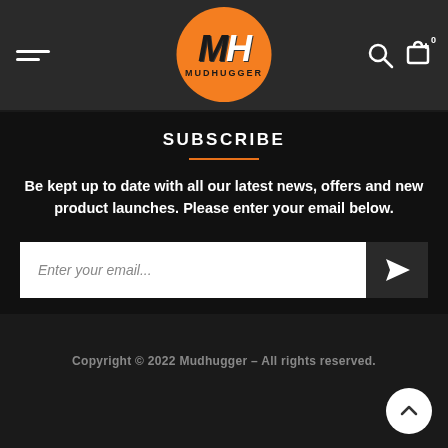[Figure (logo): Mudhugger logo: orange circle with MH letters and MUDHUGGER text below]
SUBSCRIBE
Be kept up to date with all our latest news, offers and new product launches. Please enter your email below.
Enter your email...
Copyright © 2022 Mudhugger – All rights reserved.